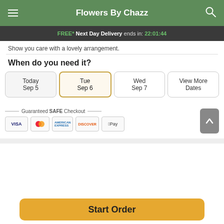Flowers By Chazz
FREE* Next Day Delivery ends in: 22:01:44
Show you care with a lovely arrangement.
When do you need it?
Today
Sep 5
Tue
Sep 6
Wed
Sep 7
View More
Dates
Guaranteed SAFE Checkout
Start Order